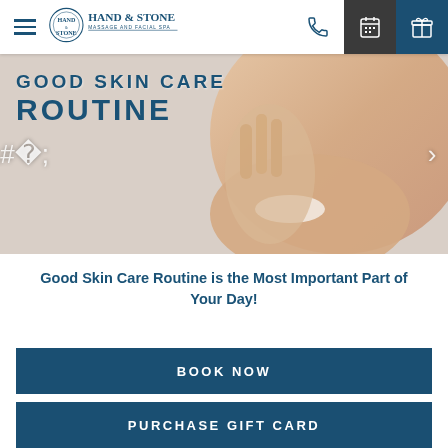[Figure (screenshot): Hand & Stone Massage and Facial Spa website screenshot showing navigation bar with hamburger menu, logo, phone icon, calendar icon, and gift icon on dark background.]
[Figure (photo): Hero banner image of a smiling woman touching her face with overlaid text 'GOOD SKIN CARE ROUTINE' in bold dark blue uppercase letters.]
Good Skin Care Routine is the Most Important Part of Your Day!
BOOK NOW
PURCHASE GIFT CARD